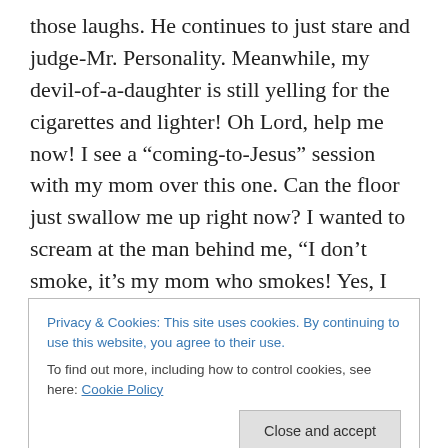those laughs.  He continues to just stare and judge-Mr. Personality.  Meanwhile, my devil-of-a-daughter is still yelling for the cigarettes and lighter!  Oh Lord, help me now!  I see a “coming-to-Jesus” session with my mom over this one.  Can the floor just swallow me up right now?  I wanted to scream at the man behind me, “I don’t smoke, it’s my mom who smokes!  Yes, I give my kid high fructose corn syrup, but not nicotine!”
By this point in time I was basically hurling my grocery items towards the kid who was starting to bag stuff up.  I
Privacy & Cookies: This site uses cookies. By continuing to use this website, you agree to their use.
To find out more, including how to control cookies, see here: Cookie Policy
[Close and accept]
genius statement, Samantha).”  I continue on as if I’m